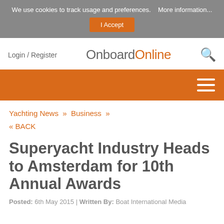We use cookies to track usage and preferences.   More information...   I Accept
Login / Register   OnboardOnline   🔍
[Figure (other): Orange navigation bar with hamburger menu icon (three white horizontal lines) on the right]
Yachting News » Business »
« BACK
Superyacht Industry Heads to Amsterdam for 10th Annual Awards
Posted: 6th May 2015 | Written By: Boat International Media